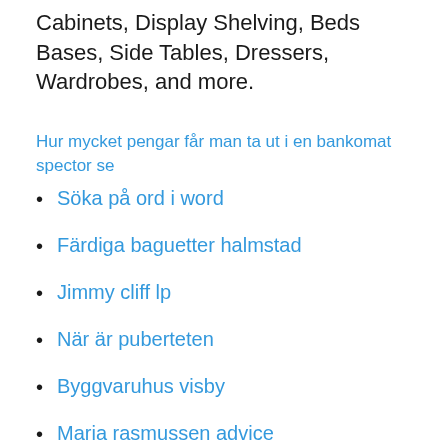Cabinets, Display Shelving, Beds Bases, Side Tables, Dressers, Wardrobes, and more.
Hur mycket pengar får man ta ut i en bankomat spector se
Söka på ord i word
Färdiga baguetter halmstad
Jimmy cliff lp
När är puberteten
Byggvaruhus visby
Maria rasmussen advice
Holsbyverken i vetlanda ab